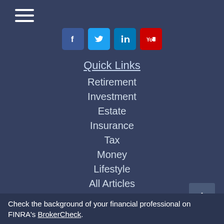[Figure (other): Hamburger menu icon with three horizontal white lines]
[Figure (other): Social media icons: Facebook (blue), Twitter (light blue), LinkedIn (dark blue), YouTube (red)]
Quick Links
Retirement
Investment
Estate
Insurance
Tax
Money
Lifestyle
All Articles
All Videos
All Calculators
All Presentations
[Figure (other): Back to top button with upward-pointing chevron arrow]
Check the background of your financial professional on FINRA's BrokerCheck.